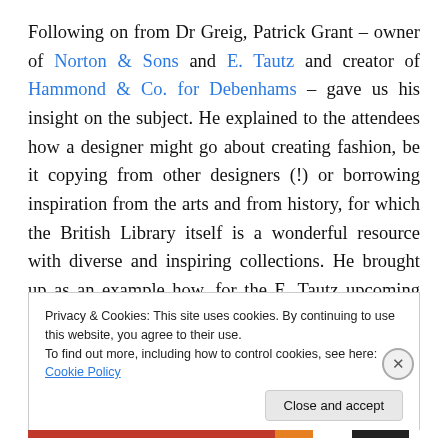Following on from Dr Greig, Patrick Grant – owner of Norton & Sons and E. Tautz and creator of Hammond & Co. for Debenhams – gave us his insight on the subject. He explained to the attendees how a designer might go about creating fashion, be it copying from other designers (!) or borrowing inspiration from the arts and from history, for which the British Library itself is a wonderful resource with diverse and inspiring collections. He brought up as an example how, for the E. Tautz upcoming collection, inspiration was drawn from Samuel Adamson's Gabriel, a
Privacy & Cookies: This site uses cookies. By continuing to use this website, you agree to their use.
To find out more, including how to control cookies, see here: Cookie Policy
Close and accept